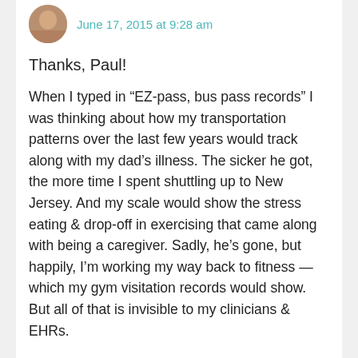June 17, 2015 at 9:28 am
Thanks, Paul!
When I typed in “EZ-pass, bus pass records” I was thinking about how my transportation patterns over the last few years would track along with my dad’s illness. The sicker he got, the more time I spent shuttling up to New Jersey. And my scale would show the stress eating & drop-off in exercising that came along with being a caregiver. Sadly, he’s gone, but happily, I’m working my way back to fitness — which my gym visitation records would show. But all of that is invisible to my clinicians & EHRs.